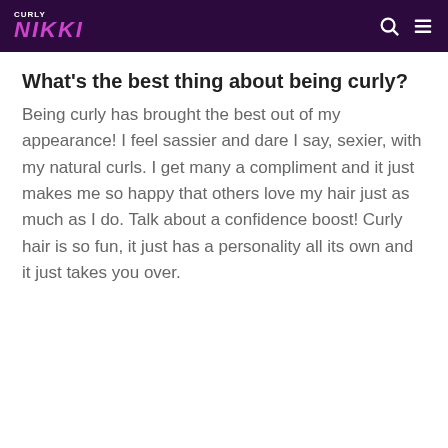CURLY NIKKI
What's the best thing about being curly?
Being curly has brought the best out of my appearance! I feel sassier and dare I say, sexier, with my natural curls. I get many a compliment and it just makes me so happy that others love my hair just as much as I do. Talk about a confidence boost! Curly hair is so fun, it just has a personality all its own and it just takes you over.